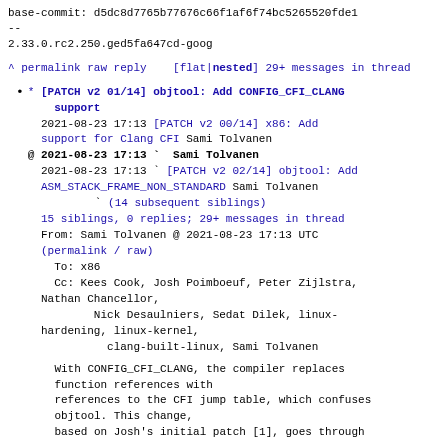base-commit: d5dc8d7765b77676c66f1af6f74bc5265520fde1
--
2.33.0.rc2.250.ged5fa647cd-goog
^ permalink raw reply   [flat|nested] 29+ messages in thread
* [PATCH v2 01/14] objtool: Add CONFIG_CFI_CLANG support
  2021-08-23 17:13 [PATCH v2 00/14] x86: Add support for Clang CFI Sami Tolvanen
@ 2021-08-23 17:13 ` Sami Tolvanen
  2021-08-23 17:13 ` [PATCH v2 02/14] objtool: Add ASM_STACK_FRAME_NON_STANDARD Sami Tolvanen
                   ` (14 subsequent siblings)
  15 siblings, 0 replies; 29+ messages in thread
From: Sami Tolvanen @ 2021-08-23 17:13 UTC
(permalink / raw)
  To: x86
  Cc: Kees Cook, Josh Poimboeuf, Peter Zijlstra, Nathan Chancellor,
          Nick Desaulniers, Sedat Dilek, linux-hardening, linux-kernel,
          clang-built-linux, Sami Tolvanen
With CONFIG_CFI_CLANG, the compiler replaces function references with
references to the CFI jump table, which confuses objtool. This change,
based on Josh's initial patch [1], goes through